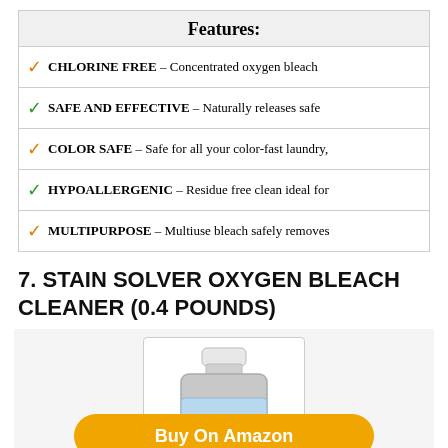Features:
CHLORINE FREE – Concentrated oxygen bleach
SAFE AND EFFECTIVE – Naturally releases safe
COLOR SAFE – Safe for all your color-fast laundry,
HYPOALLERGENIC – Residue free clean ideal for
MULTIPURPOSE – Multiuse bleach safely removes
7. STAIN SOLVER OXYGEN BLEACH CLEANER (0.4 POUNDS)
[Figure (photo): A small white jar of Stain Solver oxygen bleach cleaner with a white lid and blue label text.]
Buy On Amazon